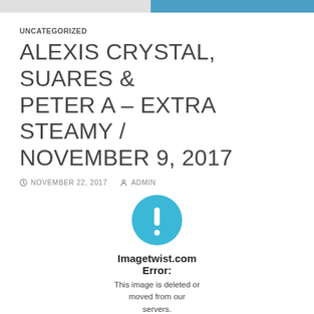UNCATEGORIZED
ALEXIS CRYSTAL, SUARES & PETER A – EXTRA STEAMY / NOVEMBER 9, 2017
NOVEMBER 22, 2017   ADMIN
[Figure (infographic): Error image placeholder: blue circle with white exclamation mark, with text 'Imagetwist.com Error: This image is deleted or moved from our servers.']